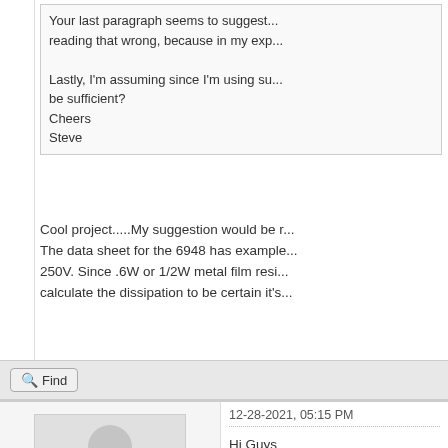Your last paragraph seems to suggest... reading that wrong, because in my exp...

Lastly, I'm assuming since I'm using su... be sufficient?
Cheers
Steve
Cool project.....My suggestion would be r... The data sheet for the 6948 has example... 250V. Since .6W or 1/2W metal film resi... calculate the dissipation to be certain it's...
Find
12-28-2021, 05:15 PM
Hi Guys
I was just looking up the 6948 data which...
As Makinrose said, the data sheet has be... 200V supplies, so it is easiest to start wit...
K O'Connor
Posts: 318
Threads: 33